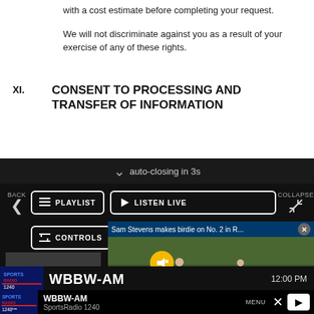with a cost estimate before completing your request.
We will not discriminate against you as a result of your exercise of any of these rights.
XI. CONSENT TO PROCESSING AND TRANSFER OF INFORMATION
[Figure (screenshot): Media player overlay with auto-closing banner, playlist and listen live buttons, controls button, and a golf video popup showing 'Sam Stevens makes birdie on No. 2 in R...' with two golfers on a green, plus WBBW-AM SportsRadio 1240 station bar at the bottom]
auto-closing in 3s
WBBW-AM
WBBW-AM
SportsRadio 1240
12:00 PM
MENU